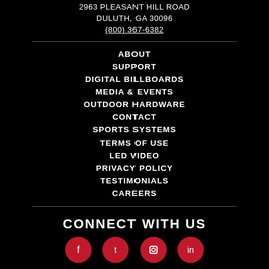2963 PLEASANT HILL ROAD
DULUTH, GA 30096
(800) 367-6382
ABOUT
SUPPORT
DIGITAL BILLBOARDS
MEDIA & EVENTS
OUTDOOR HARDWARE
CONTACT
SPORTS SYSTEMS
TERMS OF USE
LED VIDEO
PRIVACY POLICY
TESTIMONIALS
CAREERS
CONNECT WITH US
[Figure (other): Four red circular social media icon buttons (Facebook, Twitter/X, Instagram, and another platform)]